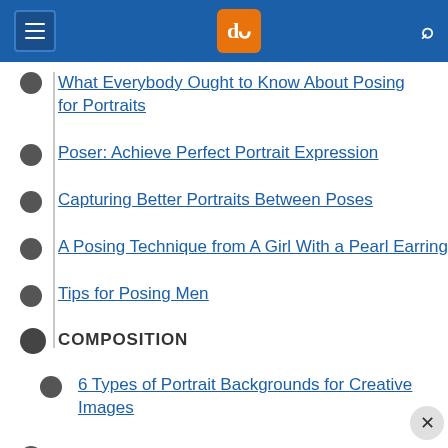[Figure (screenshot): Website navigation bar with hamburger menu icon on the left, dPS logo (orange square with white serif letters) in the center, and a search icon on the right, on a blue background.]
What Everybody Ought to Know About Posing for Portraits
Poser: Achieve Perfect Portrait Expression
Capturing Better Portraits Between Poses
A Posing Technique from A Girl With a Pearl Earring
Tips for Posing Men
COMPOSITION
6 Types of Portrait Backgrounds for Creative Images
6 Tips for Perfect Composition in Portraits